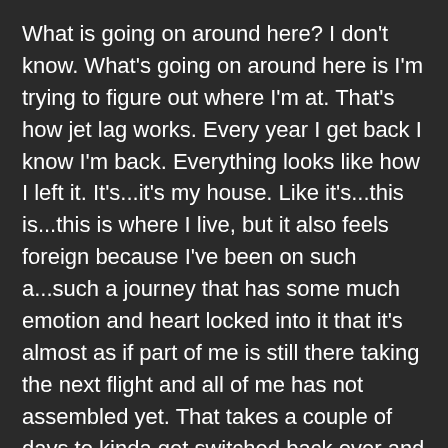What is going on around here? I don't know. What's going on around here is I'm trying to figure out where I'm at. That's how jet lag works. Every year I get back I know I'm back. Everything looks like how I left it. It's...it's my house. Like it's...this is...this is where I live, but it also feels foreign because I've been on such a...such a journey that has some much emotion and heart locked into it that it's almost as if part of me is still there taking the next flight and all of me has not assembled yet. That takes a couple of days to kinda get switched back over and start feeling like your feet are on the ground again. I doubt that I am the only one who has ever experienced this. I doubt that I'm the only one experiencing this now for all of us who have...or who are returning from our pilgrimage to Israel. So, hang in there. I've done this a lot of times. It gets better. It just takes a couple of days. Take it easy. It's fascinating how much got poured into us, how much knowledge and how much heart, just how much we were